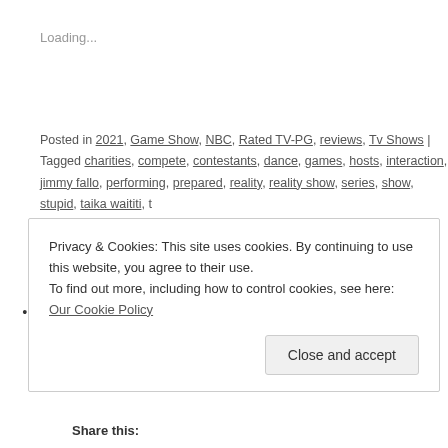Loading...
Posted in 2021, Game Show, NBC, Rated TV-PG, reviews, Tv Shows | Tagged charities, compete, contestants, dance, games, hosts, interaction, jimmy fallo, performing, prepared, reality, reality show, series, show, stupid, taika waititi, t, series, Tv Shows, two, Unscripted, win, worth | Leave a comment
Rescue Me (2016) Rated TV-PG
Posted on February 5, 2022 by laurarachel4
•
Privacy & Cookies: This site uses cookies. By continuing to use this website, you agree to their use.
To find out more, including how to control cookies, see here: Our Cookie Policy
Close and accept
Share this: